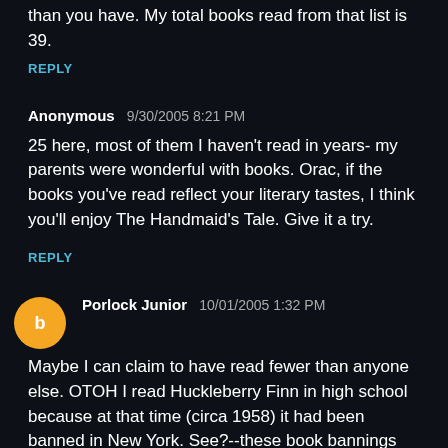than you have. My total books read from that list is 39.
REPLY
Anonymous  9/30/2005 8:21 PM
25 here, most of them I haven't read in years- my parents were wonderful with books. Orac, if the books you've read reflect your literary tastes, I think you'll enjoy The Handmaid's Tale. Give it a try.
REPLY
Porlock Junior  10/01/2005 1:32 PM
Maybe I can claim to have read fewer than anyone else. OTOH I read Huckleberry Finn in high school because at that time (circa 1958) it had been banned in New York. See?--these book bannings are useful.
If you want to make 20, you could read Little Black Sambo in a minute or two. At one time it was a Standard Little Kid Story. It too came